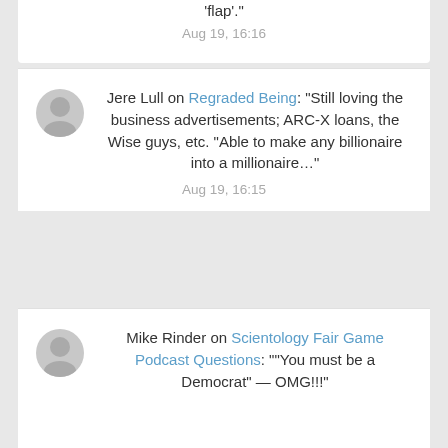was Fired again ... for causing a 'flap'.
Aug 19, 16:16
Jere Lull on Regraded Being: "Still loving the business advertisements; ARC-X loans, the Wise guys, etc. “Able to make any billionaire into a millionaire…"
Aug 19, 16:15
Mike Rinder on Scientology Fair Game Podcast Questions: "“You must be a Democrat” — OMG!!!"
Aug 19, 15:52